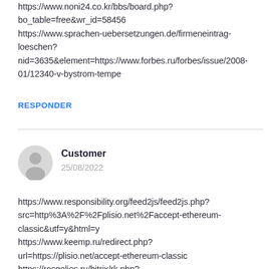https://www.noni24.co.kr/bbs/board.php?bo_table=free&wr_id=58456
https://www.sprachen-uebersetzungen.de/firmeneintrag-loeschen?nid=3635&element=https://www.forbes.ru/forbes/issue/2008-01/12340-v-bystrom-tempe
RESPONDER
Customer
25/08/2022
https://www.responsibility.org/feed2js/feed2js.php?src=http%3A%2F%2Fplisio.net%2Faccept-ethereum-classic&utf=y&html=y
https://www.keemp.ru/redirect.php?url=https://plisio.net/accept-ethereum-classic
https://rosgelios.ru/bitrix/rk.php?goto=https://plisio.net/accept-ethereum-classic